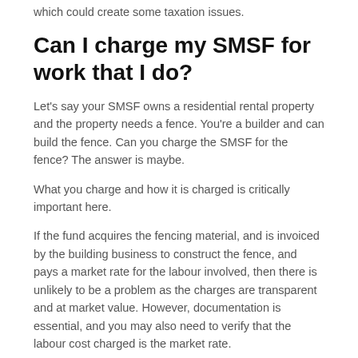which could create some taxation issues.
Can I charge my SMSF for work that I do?
Let's say your SMSF owns a residential rental property and the property needs a fence. You're a builder and can build the fence. Can you charge the SMSF for the fence? The answer is maybe.
What you charge and how it is charged is critically important here.
If the fund acquires the fencing material, and is invoiced by the building business to construct the fence, and pays a market rate for the labour involved, then there is unlikely to be a problem as the charges are transparent and at market value. However, documentation is essential, and you may also need to verify that the labour cost charged is the market rate.